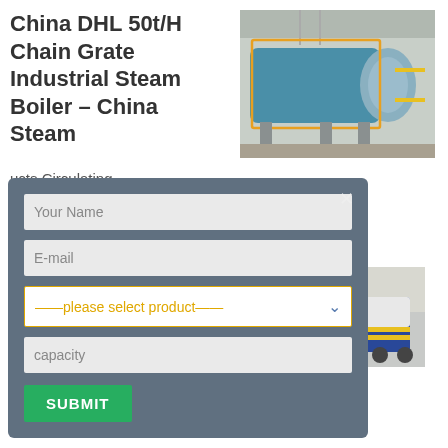China DHL 50t/H Chain Grate Industrial Steam Boiler – China Steam
[Figure (photo): Industrial steam boiler in a factory, blue cylindrical boiler with yellow piping and orange frame markings]
ucts Circulating r DHL 50t/H Chain oiler Bituminous Coal,
More
Coal Fired Boiler – Taishan Group Co., Ltd. – PDF
[Figure (photo): Industrial machine/manufacturing equipment in a factory, blue and white machinery on factory floor]
Consult Taishan Group Co., Ltd.'s entire Taishan
[Figure (infographic): Contact form modal overlay with fields: Your Name, E-mail, product selector, capacity, and SUBMIT button]